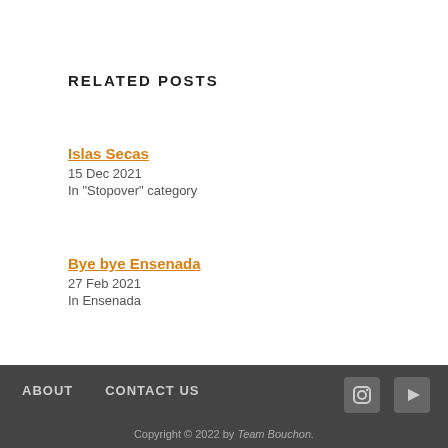RELATED POSTS
Islas Secas
15 Dec 2021
In "Stopover" category
Bye bye Ensenada
27 Feb 2021
In Ensenada
ABOUT   CONTACT US   Copyright © 2022 by Team Bouchon.